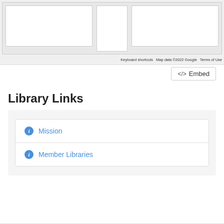[Figure (screenshot): Google Maps embed showing a map with street tiles and map attribution footer]
Keyboard shortcuts   Map data ©2022 Google   Terms of Use
</> Embed
Library Links
ℹ Mission
ℹ Member Libraries